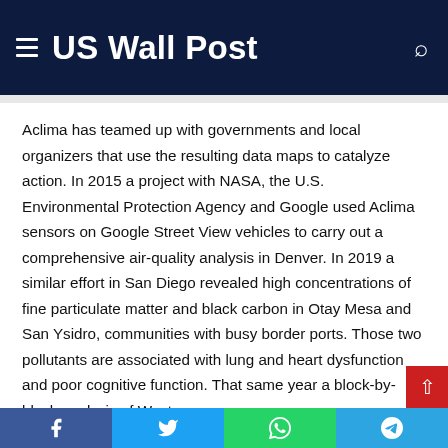US Wall Post
Aclima has teamed up with governments and local organizers that use the resulting data maps to catalyze action. In 2015 a project with NASA, the U.S. Environmental Protection Agency and Google used Aclima sensors on Google Street View vehicles to carry out a comprehensive air-quality analysis in Denver. In 2019 a similar effort in San Diego revealed high concentrations of fine particulate matter and black carbon in Otay Mesa and San Ysidro, communities with busy border ports. Those two pollutants are associated with lung and heart dysfunction and poor cognitive function. That same year a block-by-block analysis of West
Facebook Twitter WhatsApp Telegram